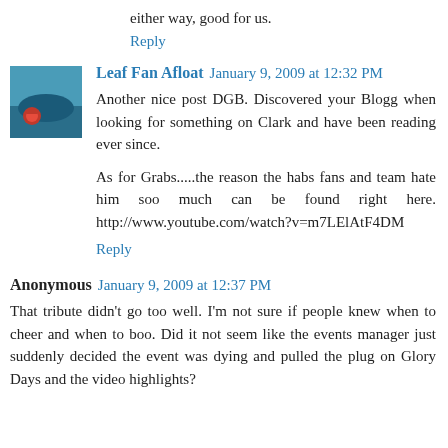either way, good for us.
Reply
Leaf Fan Afloat  January 9, 2009 at 12:32 PM
Another nice post DGB. Discovered your Blogg when looking for something on Clark and have been reading ever since.

As for Grabs.....the reason the habs fans and team hate him soo much can be found right here. http://www.youtube.com/watch?v=m7LElAtF4DM
Reply
Anonymous  January 9, 2009 at 12:37 PM
That tribute didn't go too well. I'm not sure if people knew when to cheer and when to boo. Did it not seem like the events manager just suddenly decided the event was dying and pulled the plug on Glory Days and the video highlights?